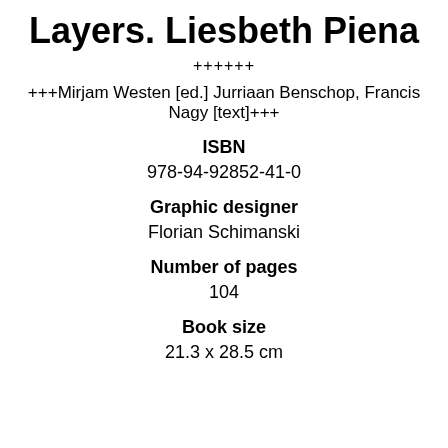Layers. Liesbeth Piena
++++++
+++Mirjam Westen [ed.] Jurriaan Benschop, Francis Nagy [text]+++
ISBN
978-94-92852-41-0
Graphic designer
Florian Schimanski
Number of pages
104
Book size
21.3 x 28.5 cm